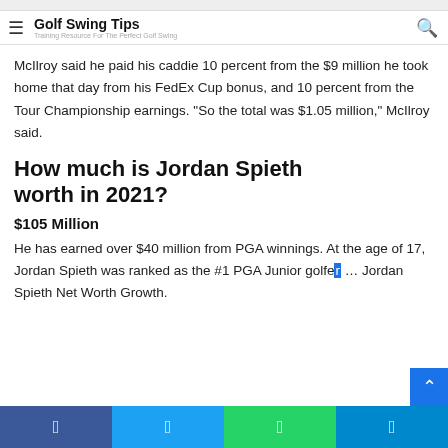Golf Swing Tips — Training Resource For The Perfect Golf Swing
McIlroy said he paid his caddie 10 percent from the $9 million he took home that day from his FedEx Cup bonus, and 10 percent from the Tour Championship earnings. "So the total was $1.05 million," McIlroy said.
How much is Jordan Spieth worth in 2021?
$105 Million
He has earned over $40 million from PGA winnings. At the age of 17, Jordan Spieth was ranked as the #1 PGA Junior golfer … Jordan Spieth Net Worth Growth.